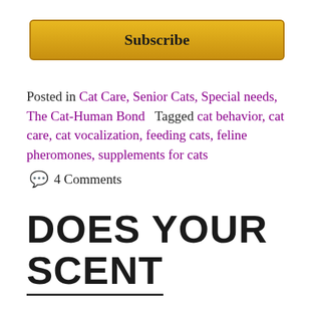Subscribe
Posted in Cat Care, Senior Cats, Special needs, The Cat-Human Bond   Tagged cat behavior, cat care, cat vocalization, feeding cats, feline pheromones, supplements for cats
4 Comments
DOES YOUR SCENT